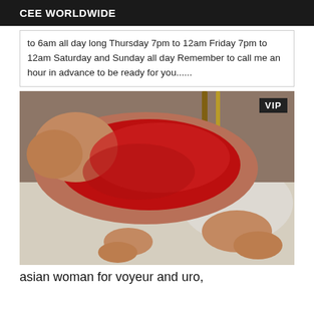CEE WORLDWIDE
to 6am all day long Thursday 7pm to 12am Friday 7pm to 12am Saturday and Sunday all day Remember to call me an hour in advance to be ready for you......
[Figure (photo): Person lying on bed wearing red lingerie, VIP badge in top right corner]
asian woman for voyeur and uro,